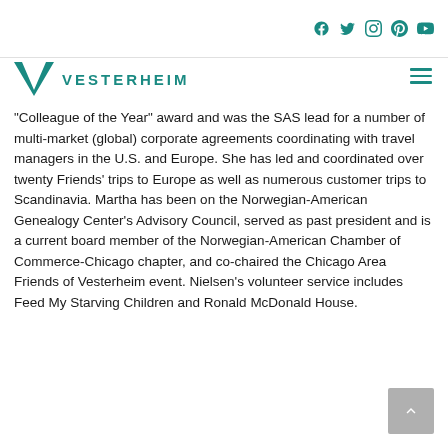Vesterheim — social icons (Facebook, Twitter, Instagram, Pinterest, YouTube) and logo
"Colleague of the Year" award and was the SAS lead for a number of multi-market (global) corporate agreements coordinating with travel managers in the U.S. and Europe. She has led and coordinated over twenty Friends' trips to Europe as well as numerous customer trips to Scandinavia. Martha has been on the Norwegian-American Genealogy Center's Advisory Council, served as past president and is a current board member of the Norwegian-American Chamber of Commerce-Chicago chapter, and co-chaired the Chicago Area Friends of Vesterheim event. Nielsen's volunteer service includes Feed My Starving Children and Ronald McDonald House.